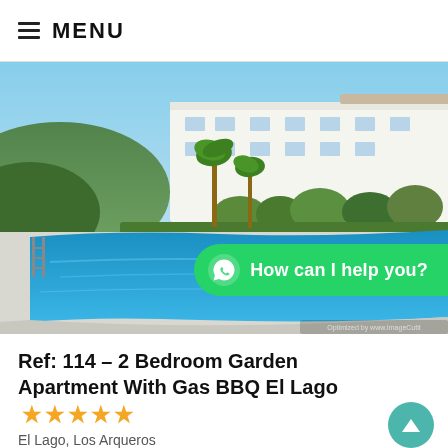MENU
[Figure (photo): Outdoor swimming pool area with blue water, surrounded by white apartment buildings, palm trees, green hedges, and a hillside in the background under a blue sky. A WhatsApp chat bubble overlay reads 'How can I help you?']
Ref: 114 – 2 Bedroom Garden Apartment With Gas BBQ El Lago ★★★★★
El Lago, Los Arqueros